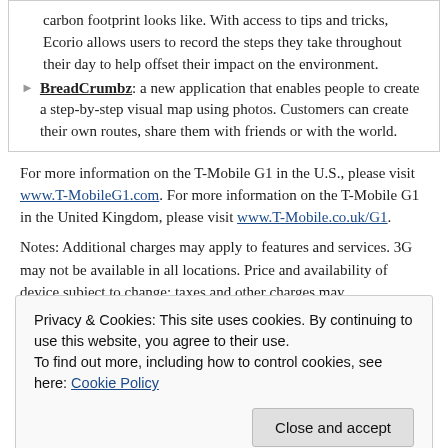BreadCrumbz: a new application that enables people to create a step-by-step visual map using photos. Customers can create their own routes, share them with friends or with the world.
For more information on the T-Mobile G1 in the U.S., please visit www.T-MobileG1.com. For more information on the T-Mobile G1 in the United Kingdom, please visit www.T-Mobile.co.uk/G1.
Notes: Additional charges may apply to features and services. 3G may not be available in all locations. Price and availability of device subject to change; taxes and other charges may
Privacy & Cookies: This site uses cookies. By continuing to use this website, you agree to their use.
To find out more, including how to control cookies, see here: Cookie Policy
the second quarter of 2008, 125 million mobile customers